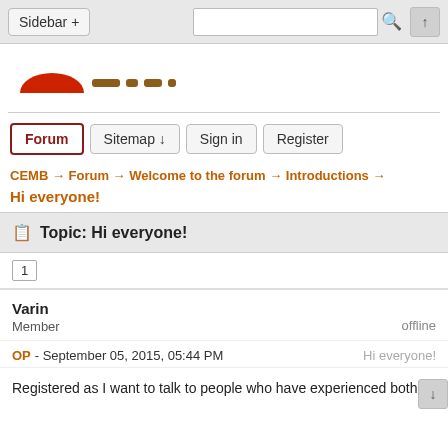Sidebar +  [search]  ↑
[Figure (logo): Partial red and brown logo graphic, cropped at top]
Forum  Sitemap ↓  Sign in  Register
CEMB → Forum → Welcome to the forum → Introductions →
Hi everyone!
Topic: Hi everyone!
1
Varin
Member
offline
OP - September 05, 2015, 05:44 PM
Hi everyone!
Registered as I want to talk to people who have experienced both